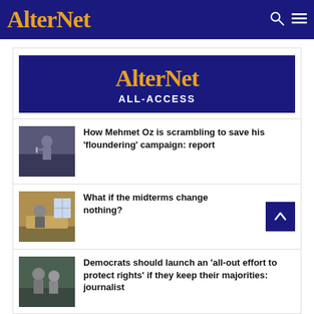AlterNet
[Figure (logo): AlterNet ALL-ACCESS banner with gold serif AlterNet text and white ALL-ACCESS subtitle on dark blue background]
How Mehmet Oz is scrambling to save his 'floundering' campaign: report
What if the midterms change nothing?
Democrats should launch an 'all-out effort to protect rights' if they keep their majorities: journalist